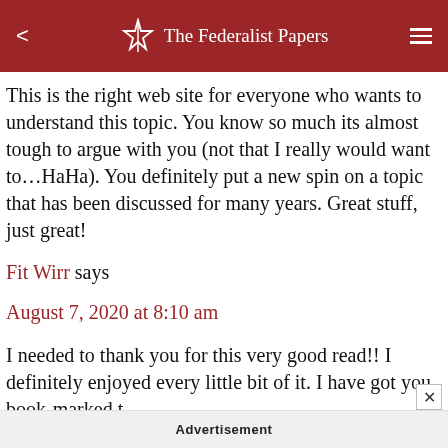The Federalist Papers
This is the right web site for everyone who wants to understand this topic. You know so much its almost tough to argue with you (not that I really would want to…HaHa). You definitely put a new spin on a topic that has been discussed for many years. Great stuff, just great!
Fit Wirr says
August 7, 2020 at 8:10 am
I needed to thank you for this very good read!! I definitely enjoyed every little bit of it. I have got you book-marked t
Advertisement